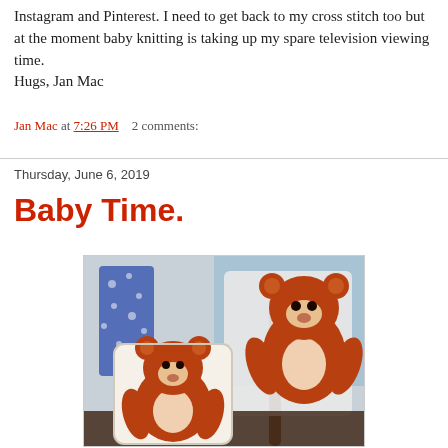Instagram and Pinterest. I need to get back to my cross stitch too but at the moment baby knitting is taking up my spare television viewing time.
Hugs, Jan Mac
Jan Mac at 7:26 PM    2 comments:
Thursday, June 6, 2019
Baby Time.
[Figure (photo): Photo of two decorative cushions/items featuring orange bear/monkey character designs, displayed against a light background with some clothing visible behind them.]